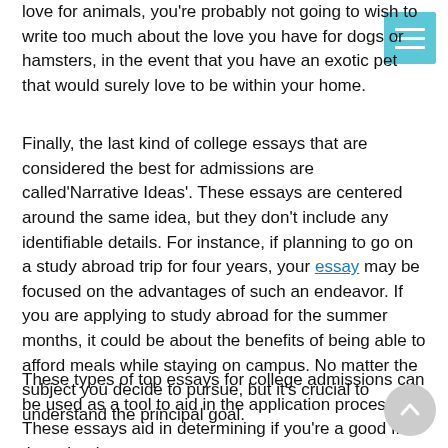love for animals, you're probably not going to wish to write too much about the love you have for dogs or hamsters, in the event that you have an exotic pet that would surely love to be within your home.
Finally, the last kind of college essays that are considered the best for admissions are called'Narrative Ideas'. These essays are centered around the same idea, but they don't include any identifiable details. For instance, if planning to go on a study abroad trip for four years, your essay may be focused on the advantages of such an endeavor. If you are applying to study abroad for the summer months, it could be about the benefits of being able to afford meals while staying on campus. No matter the subject you decide to pursue, but it's crucial to understand the principal goal.
These types of top essays for college admissions can be used as a tool to aid in the application process. These essays aid in determining if you're a good fit to the school